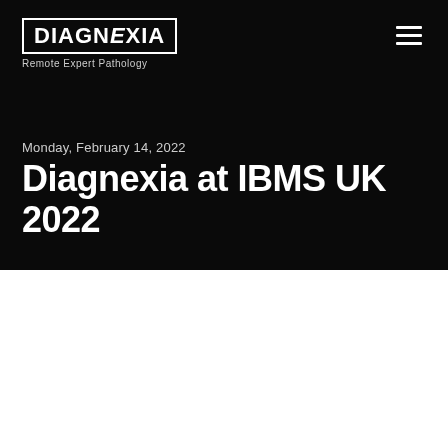[Figure (logo): Diagnexia Remote Expert Pathology logo, white text on black background, top-left of header]
[Figure (logo): Hamburger menu icon, three white horizontal lines, top-right of header]
Monday, February 14, 2022
Diagnexia at IBMS UK 2022
[Figure (logo): IBMS Congress 2022 logo with Institute of Biomedical Science text, 14-17 March - Birmingham, UK]
[Figure (logo): Diagnexia Remote Expert Pathology logo, black text on white background, bottom-right]